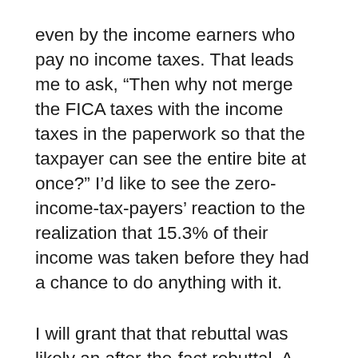even by the income earners who pay no income taxes. That leads me to ask, “Then why not merge the FICA taxes with the income taxes in the paperwork so that the taxpayer can see the entire bite at once?” I’d like to see the zero-income-tax-payers’ reaction to the realization that 15.3% of their income was taken before they had a chance to do anything with it.
I will grant that that rebuttal was likely an after-the-fact rebuttal. A clever one, though.